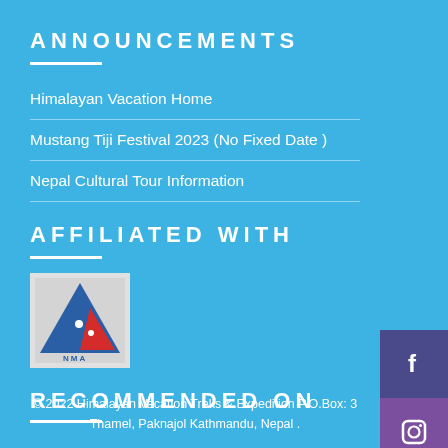ANNOUNCEMENTS
Himalayan Vacation Home
Mustang Tiji Festival 2023 (No Fixed Date )
Nepal Cultural Tour Information
AFFILIATED WITH
[Figure (logo): NMA (Nepal Mountaineering Association) logo — triangular mountain shape in blue and red on grey background with NMA text]
RECOMMENDED ON
© 2022 Himalayan Vacation Treks & Expedition P.O.Box: 3 Thamel, Paknajol Kathmandu, Nepal .